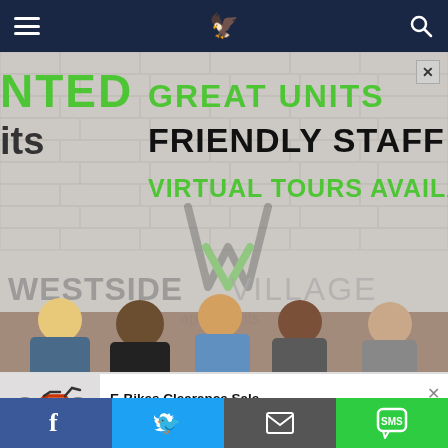Navigation bar with hamburger menu, logo, and search icon
[Figure (photo): Westside Village Apartments advertisement showing group of young people sitting against a brick wall with Westside Village logo and text: GREAT UNITS, FRIENDLY STAFF, VIRTUAL TOURS AVAILABLE, with partial cut-off text NTED and its on the left]
[Figure (photo): E-Bikes Clearance Sale advertisement with image of orange electric bike with fat tires]
E-Bikes Clearance Sale
E-Bikes | Search Ads | Sponsored
Social sharing bar with Facebook, Twitter, Email, and SMS buttons